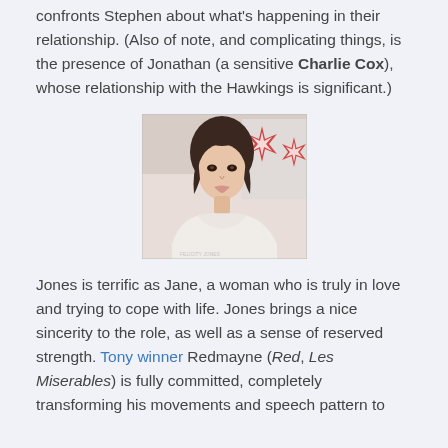confronts Stephen about what's happening in their relationship. (Also of note, and complicating things, is the presence of Jonathan (a sensitive Charlie Cox), whose relationship with the Hawkings is significant.)
[Figure (photo): A woman with dark hair in an updo with bangs, wearing a white dress, photographed at an event with a decorative background.]
Jones is terrific as Jane, a woman who is truly in love and trying to cope with life. Jones brings a nice sincerity to the role, as well as a sense of reserved strength. Tony winner Redmayne (Red, Les Miserables) is fully committed, completely transforming his movements and speech pattern to